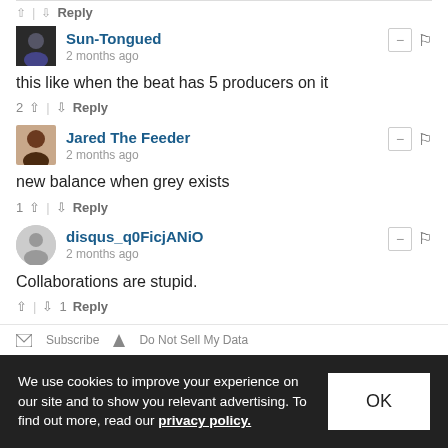↑ | ↓ Reply
Sun-Tongued
2 months ago
this like when the beat has 5 producers on it
2 ↑ | ↓ Reply
Jared The Feeder
2 months ago
new balance when grey exists
1 ↑ | ↓ Reply
disqus_q0FicjANiO
2 months ago
Collaborations are stupid.
↑ | ↓ 1 Reply
✉ Subscribe  ▲ Do Not Sell My Data
We use cookies to improve your experience on our site and to show you relevant advertising. To find out more, read our privacy policy.